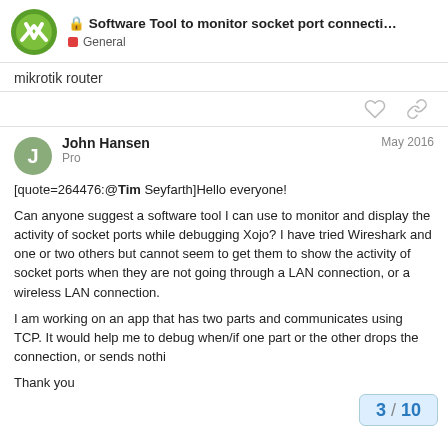Software Tool to monitor socket port connecti... — General
mikrotik router
[quote=264476:@Tim Seyfarth]Hello everyone!

Can anyone suggest a software tool I can use to monitor and display the activity of socket ports while debugging Xojo? I have tried Wireshark and one or two others but cannot seem to get them to show the activity of socket ports when they are not going through a LAN connection, or a wireless LAN connection.

I am working on an app that has two parts and communicates using TCP. It would help me to debug when/if one part or the other drops the connection, or sends nothi

Thank you
John Hansen
Pro
May 2016
3 / 10